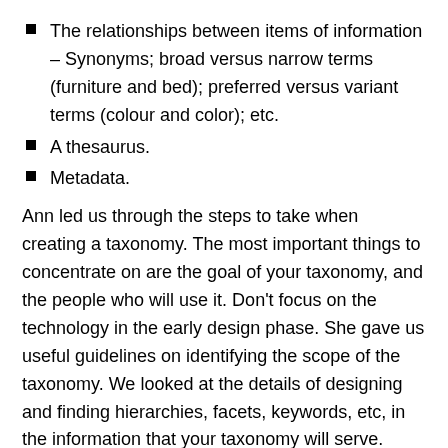The relationships between items of information – Synonyms; broad versus narrow terms (furniture and bed); preferred versus variant terms (colour and color); etc.
A thesaurus.
Metadata.
Ann led us through the steps to take when creating a taxonomy. The most important things to concentrate on are the goal of your taxonomy, and the people who will use it. Don't focus on the technology in the early design phase. She gave us useful guidelines on identifying the scope of the taxonomy. We looked at the details of designing and finding hierarchies, facets, keywords, etc, in the information that your taxonomy will serve.
A good tip: If your information is on a website, use web